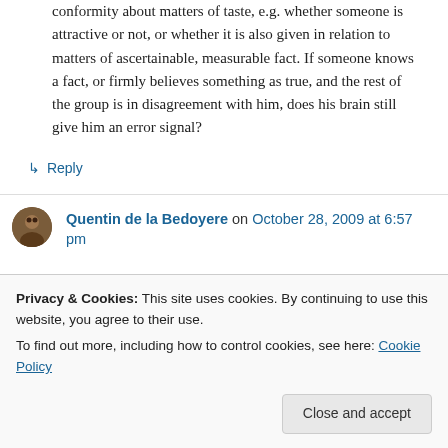conformity about matters of taste, e.g. whether someone is attractive or not, or whether it is also given in relation to matters of ascertainable, measurable fact. If someone knows a fact, or firmly believes something as true, and the rest of the group is in disagreement with him, does his brain still give him an error signal?
↳ Reply
Quentin de la Bedoyere on October 28, 2009 at 6:57 pm
Privacy & Cookies: This site uses cookies. By continuing to use this website, you agree to their use. To find out more, including how to control cookies, see here: Cookie Policy
Close and accept